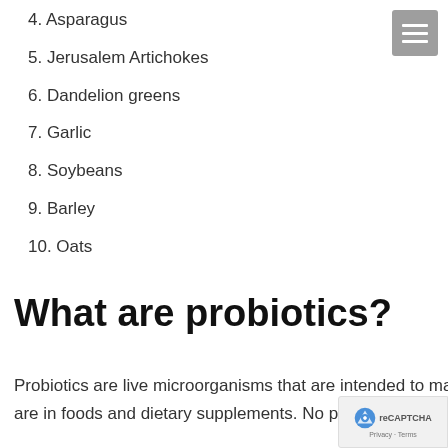4. Asparagus
5. Jerusalem Artichokes
6. Dandelion greens
7. Garlic
8. Soybeans
9. Barley
10. Oats
What are probiotics?
Probiotics are live microorganisms that are intended to maintain or improve the “good” bacteria in your body. Probiotics are in foods and dietary supplements. No probiotics are the same. Different strains vary in the